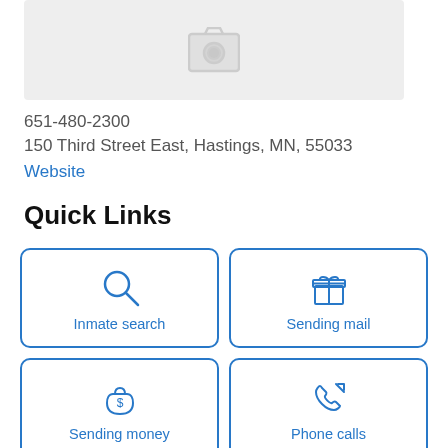[Figure (illustration): Gray placeholder photo box with camera icon]
651-480-2300
150 Third Street East, Hastings, MN, 55033
Website
Quick Links
[Figure (infographic): 2x2 grid of quick link buttons: Inmate search (magnifying glass), Sending mail (gift box), Sending money (money bag), Phone calls (phone with arrow)]